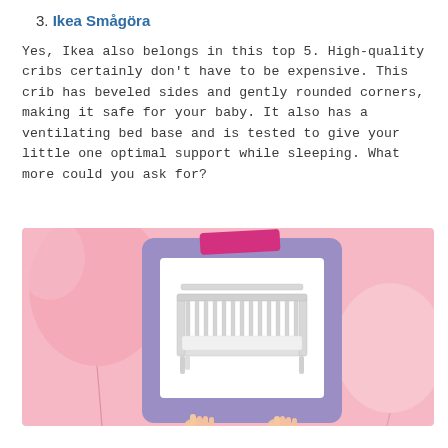3. Ikea Smågöra
Yes, Ikea also belongs in this top 5. High-quality cribs certainly don't have to be expensive. This crib has beveled sides and gently rounded corners, making it safe for your baby. It also has a ventilating bed base and is tested to give your little one optimal support while sleeping. What more could you ask for?
[Figure (photo): Photo of an Ikea Smågöra white baby crib displayed on a purple clipboard-style frame, held up against a pink background with pink balloons. Two hands hold the clipboard from below.]